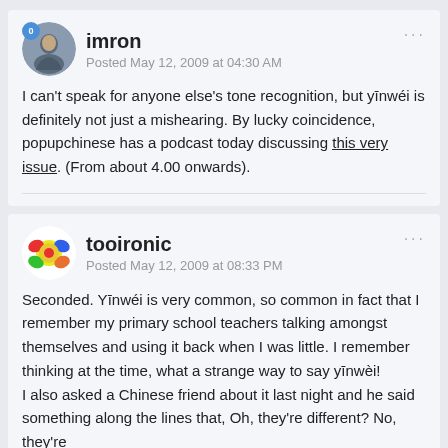imron
Posted May 12, 2009 at 04:30 AM
I can't speak for anyone else's tone recognition, but yīnwéi is definitely not just a mishearing. By lucky coincidence, popupchinese has a podcast today discussing this very issue. (From about 4.00 onwards).
tooironic
Posted May 12, 2009 at 08:33 PM
Seconded. Yīnwéi is very common, so common in fact that I remember my primary school teachers talking amongst themselves and using it back when I was little. I remember thinking at the time, what a strange way to say yīnwèi!
I also asked a Chinese friend about it last night and he said something along the lines that, Oh, they're different? No, they're